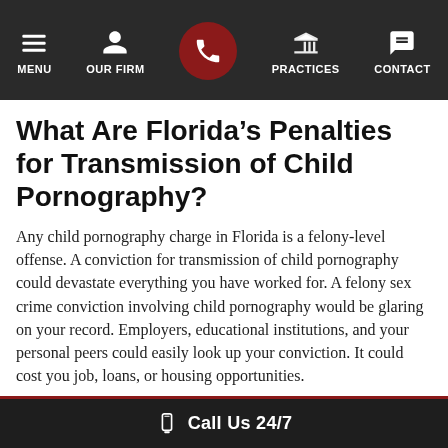MENU | OUR FIRM | [phone] | PRACTICES | CONTACT
What Are Florida’s Penalties for Transmission of Child Pornography?
Any child pornography charge in Florida is a felony-level offense. A conviction for transmission of child pornography could devastate everything you have worked for. A felony sex crime conviction involving child pornography would be glaring on your record. Employers, educational institutions, and your personal peers could easily look up your conviction. It could cost you job, loans, or housing opportunities.
That doesn’t even include the statutory penalties of the crime itself. Transmission of child pornography is a third-degree
Call Us 24/7